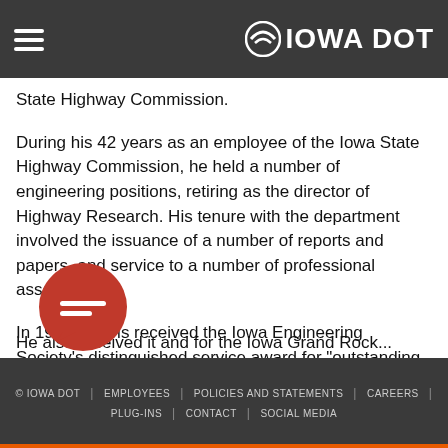Iowa DOT
State Highway Commission.
During his 42 years as an employee of the Iowa State Highway Commission, he held a number of engineering positions, retiring as the director of Highway Research. His tenure with the department involved the issuance of a number of reports and papers, and service to a number of professional associations.
In 1963, Morris received the Iowa Engineering Society's distinguished service award for "outstanding service..." on s[ome as]signment with the Iowa State Highway C[ommissi]on.
He also received it and for the Iowa Grand Rock...
© IOWA DOT   EMPLOYEES  |  POLICIES AND STATEMENTS  |  CAREERS  |  PLUG-INS  |  CONTACT  |  SOCIAL MEDIA